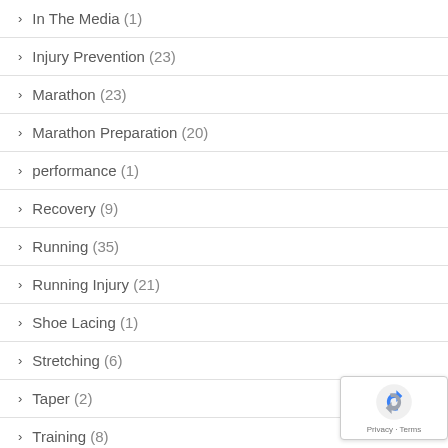In The Media (1)
Injury Prevention (23)
Marathon (23)
Marathon Preparation (20)
performance (1)
Recovery (9)
Running (35)
Running Injury (21)
Shoe Lacing (1)
Stretching (6)
Taper (2)
Training (8)
Uncategorized (4)